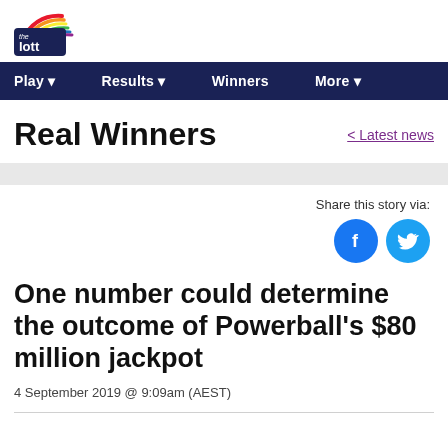[Figure (logo): The Lott logo with rainbow arc above text 'the lott']
Play   Results   Winners   More
Real Winners
< Latest news
[Figure (infographic): Share this story via: Facebook and Twitter circular icon buttons]
One number could determine the outcome of Powerball's $80 million jackpot
4 September 2019 @ 9:09am (AEST)